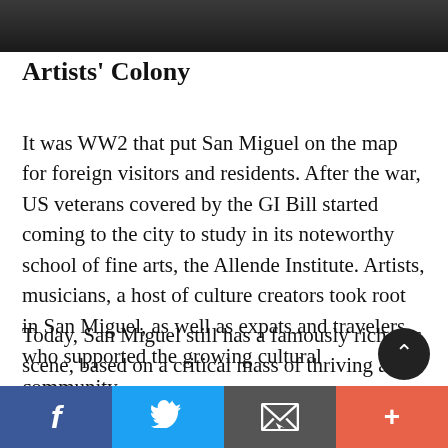[Figure (photo): Dark photo strip at the top of the page showing a dimly lit interior scene]
Artists' Colony
It was WW2 that put San Miguel on the map for foreign visitors and residents. After the war, US veterans covered by the GI Bill started coming to the city to study in its noteworthy school of fine arts, the Allende Institute. Artists, musicians, a host of culture creators took root in San Miguel, as well as expats and travelers who supported the growing cultural community.
Today, San Miguel still has a famously rich arts scene, based on a critical mass of thriving art galleries, an abundance of live music and theater, and an engag…